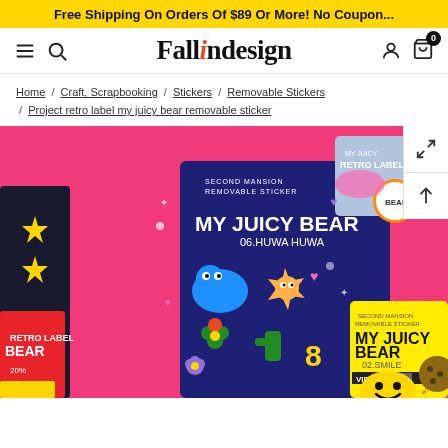Free Shipping On Orders Of $89 Or More! No Coupon...
[Figure (screenshot): Fallindesign website navigation bar with hamburger menu, search icon, logo 'Fallindesign' with red italic 'i', user icon, and cart icon with badge '0']
Home / Craft, Scrapbooking / Stickers / Removable Stickers / Project retro label my juicy bear removable sticker
[Figure (photo): Product photo showing colorful My Juicy Bear removable sticker sheets on a pink background, including designs with cartoon characters, smiley faces, flowers, and retro label elements. Sticker packs labeled '06.HUWA HUWA' and '02.SMILE' are prominently displayed.]